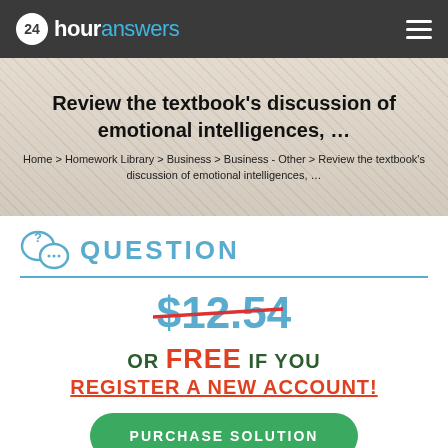24houranswers
Review the textbook’s discussion of emotional intelligences, …
Home > Homework Library > Business > Business - Other > Review the textbook’s discussion of emotional intelligences, …
QUESTION
$12.54
OR FREE IF YOU REGISTER A NEW ACCOUNT!
PURCHASE SOLUTION